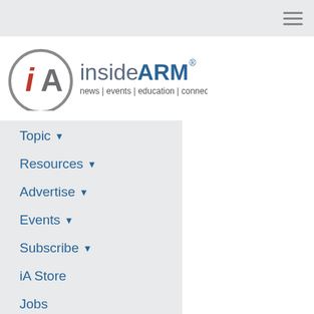insideARM navigation header bar
[Figure (logo): insideARM logo: circular iA icon with red i and grey A, followed by insideARM text in blue/grey with subtitle 'news | events | education | connection']
Topic ▾
Resources ▾
Advertise ▾
Events ▾
Subscribe ▾
iA Store
Jobs
Debt Settlement News